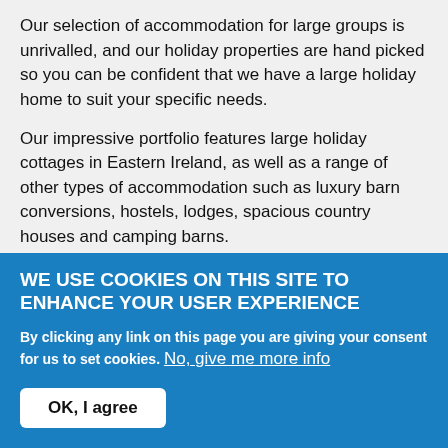Our selection of accommodation for large groups is unrivalled, and our holiday properties are hand picked so you can be confident that we have a large holiday home to suit your specific needs.
Our impressive portfolio features large holiday cottages in Eastern Ireland, as well as a range of other types of accommodation such as luxury barn conversions, hostels, lodges, spacious country houses and camping barns.
Looking for a Holiday Cottage in Eastern Ireland to Sleep 10+?
WE USE COOKIES ON THIS SITE TO ENHANCE YOUR USER EXPERIENCE
By clicking any link on this page you are giving your consent for us to set cookies. No, give me more info
OK, I agree